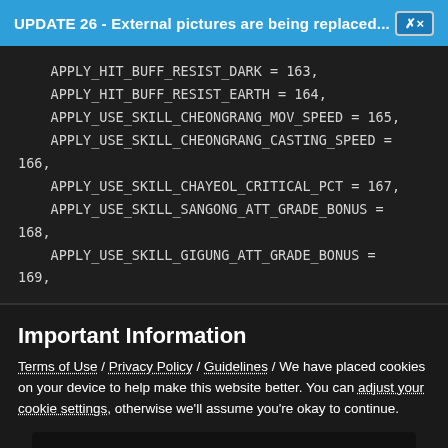UPDATE 26 - External pictures are being replaced... ✕
[Figure (screenshot): Dark code editor block showing game engine constants with values 163-169: APPLY_HIT_BUFF_RESIST_DARK = 163, APPLY_HIT_BUFF_RESIST_EARTH = 164, APPLY_USE_SKILL_CHEONGRANG_MOV_SPEED = 165, APPLY_USE_SKILL_CHEONGRANG_CASTING_SPEED = 166, APPLY_USE_SKILL_CHAYEOL_CRITICAL_PCT = 167, APPLY_USE_SKILL_SANGONG_ATT_GRADE_BONUS = 168, APPLY_USE_SKILL_GIGUNG_ATT_GRADE_BONUS = 169]
Important Information
Terms of Use / Privacy Policy / Guidelines / We have placed cookies on your device to help make this website better. You can adjust your cookie settings, otherwise we'll assume you're okay to continue.
✓ I accept